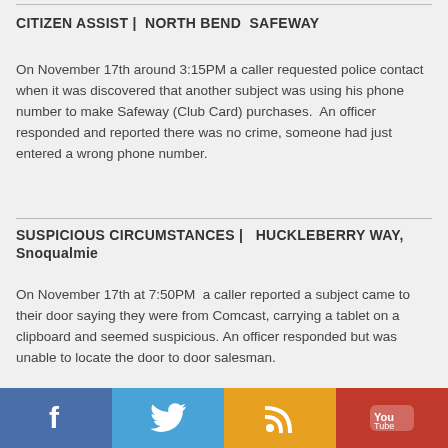CITIZEN ASSIST |  NORTH BEND  SAFEWAY
On November 17th around 3:15PM a caller requested police contact when it was discovered that another subject was using his phone number to make Safeway (Club Card) purchases.  An officer responded and reported there was no crime, someone had just entered a wrong phone number.
SUSPICIOUS CIRCUMSTANCES |   HUCKLEBERRY WAY, Snoqualmie
On November 17th at 7:50PM  a caller reported a subject came to their door saying they were from Comcast, carrying a tablet on a clipboard and seemed suspicious. An officer responded but was unable to locate the door to door salesman.
Facebook | Twitter | RSS | YouTube